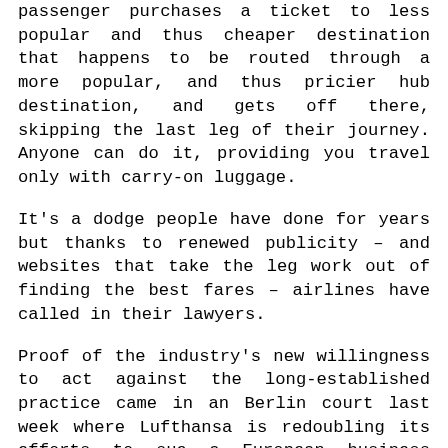passenger purchases a ticket to less popular and thus cheaper destination that happens to be routed through a more popular, and thus pricier hub destination, and gets off there, skipping the last leg of their journey. Anyone can do it, providing you travel only with carry-on luggage.
It's a dodge people have done for years but thanks to renewed publicity – and websites that take the leg work out of finding the best fares – airlines have called in their lawyers.
Proof of the industry's new willingness to act against the long-established practice came in an Berlin court last week where Lufthansa is redoubling its efforts to sue a European business class traveller who used a hidden city ticket to save thousands on a transatlantic flight.
According to a court document, an unnamed male passenger booked a return flight from Oslo to Seattle, which had a layover in Frankfurt. He skipped the final, Frankfurt to Oslo return flight, flying to Berlin on a separate ticket.